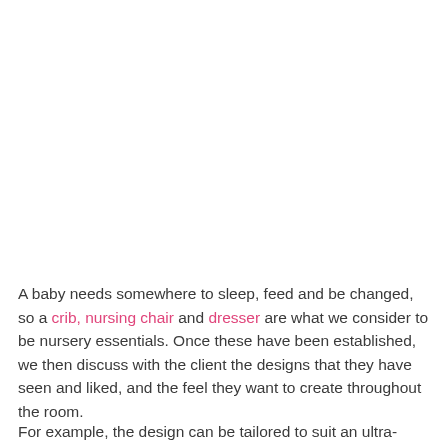A baby needs somewhere to sleep, feed and be changed, so a crib, nursing chair and dresser are what we consider to be nursery essentials. Once these have been established, we then discuss with the client the designs that they have seen and liked, and the feel they want to create throughout the room.
For example, the design can be tailored to suit an ultra-